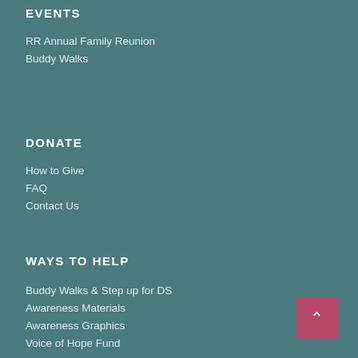EVENTS
RR Annual Family Reunion
Buddy Walks
DONATE
How to Give
FAQ
Contact Us
WAYS TO HELP
Buddy Walks & Step up for DS
Awareness Materials
Awareness Graphics
Voice of Hope Fund